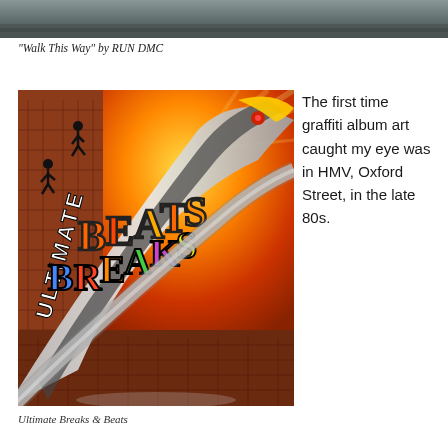[Figure (photo): Top portion of a photograph showing a street or outdoor scene with grey tones]
“Walk This Way” by RUN DMC
[Figure (photo): Album cover art for 'Ultimate Breaks & Beats' featuring graffiti-style lettering on a subway/urban scene with warm orange tones, showing a boomerang-shaped subway car with 'ULTIMATE BREAKBEATS' text in colorful graffiti, silhouettes of running figures on top of buildings]
Ultimate Breaks & Beats
The first time graffiti album art caught my eye was in HMV, Oxford Street, in the late 80s.